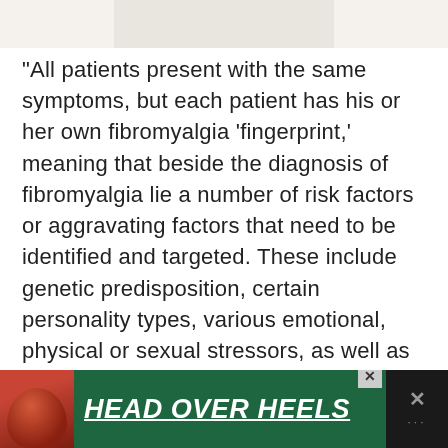[Figure (photo): Partial photo of a person, cropped at top, showing white/light clothing against a light background]
“All patients present with the same symptoms, but each patient has his or her own fibromyalgia ‘fingerprint,’ meaning that beside the diagnosis of fibromyalgia lie a number of risk factors or aggravating factors that need to be identified and targeted. These include genetic predisposition, certain personality types, various emotional, physical or sexual stressors, as well as sleep disorders, lack of exercise and mood disorders.
[Figure (photo): Advertisement banner with green background showing a dog and text 'HEAD OVER HEELS' in white bold italic underlined text]